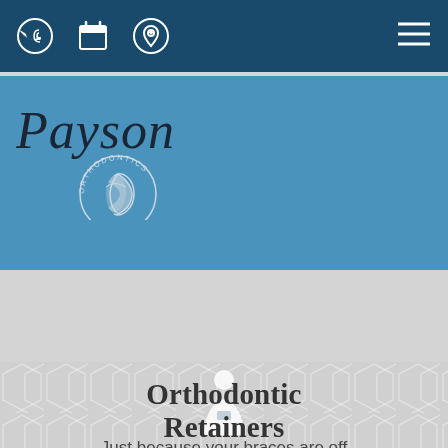[Figure (screenshot): Dark blue navigation bar with phone icon, calendar (31) icon, location pin icon, and hamburger menu icon]
[Figure (logo): Payson Orthodontics logo with stylized serif italic text 'Payson' and circular badge reading 'ORTHODONTICS' with a crescent moon symbol]
We Offer In-House Financing With NO Interest.
[Figure (illustration): White silhouette icon of a doctor/professional figure]
Orthodontic Retainers
Just because your braces are off doesn't mean your orthodontic